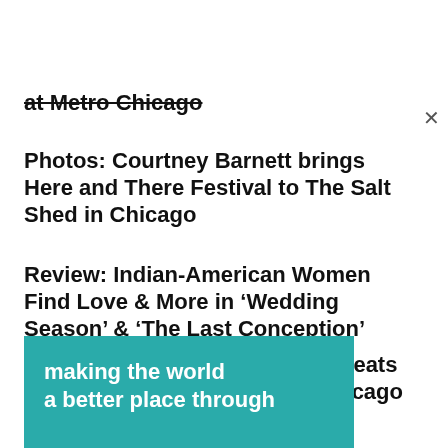at Metro Chicago
Photos: Courtney Barnett brings Here and There Festival to The Salt Shed in Chicago
Review: Indian-American Women Find Love & More in ‘Wedding Season’ & ‘The Last Conception’
Photos: The Wild Hearts Tour Beats Fiercely at The Salt Shed in Chicago
making the world
a better place through